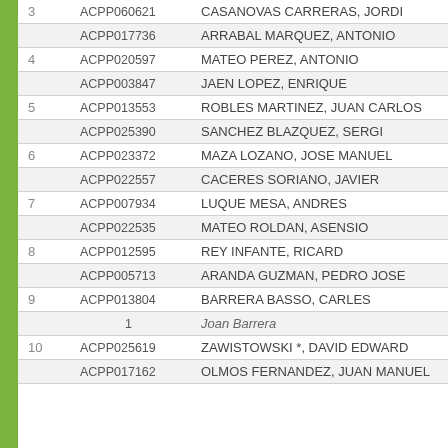| # | Code | Name |
| --- | --- | --- |
| 3 | ACPP060621 | CASANOVAS CARRERAS, JORDI |
|  | ACPP017736 | ARRABAL MARQUEZ, ANTONIO |
| 4 | ACPP020597 | MATEO PEREZ, ANTONIO |
|  | ACPP003847 | JAEN LOPEZ, ENRIQUE |
| 5 | ACPP013553 | ROBLES MARTINEZ, JUAN CARLOS |
|  | ACPP025390 | SANCHEZ BLAZQUEZ, SERGI |
| 6 | ACPP023372 | MAZA LOZANO, JOSE MANUEL |
|  | ACPP022557 | CACERES SORIANO, JAVIER |
| 7 | ACPP007934 | LUQUE MESA, ANDRES |
|  | ACPP022535 | MATEO ROLDAN, ASENSIO |
| 8 | ACPP012595 | REY INFANTE, RICARD |
|  | ACPP005713 | ARANDA GUZMAN, PEDRO JOSE |
| 9 | ACPP013804 | BARRERA BASSO, CARLES |
|  | 1 | Joan Barrera |
| 10 | ACPP025619 | ZAWISTOWSKI *, DAVID EDWARD |
|  | ACPP017162 | OLMOS FERNANDEZ, JUAN MANUEL |